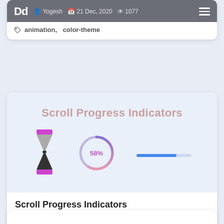Dd Yogesh | 21 Dec, 2020 | 1077 views
animation, color-theme
Scroll Progress Indicators
[Figure (infographic): Three scroll progress indicator widgets: an hourglass animation, a circular progress indicator showing 58%, and a horizontal linear progress bar.]
Scroll Progress Indicators
Yogesh | 16 Dec, 2020 | 910 views
animation